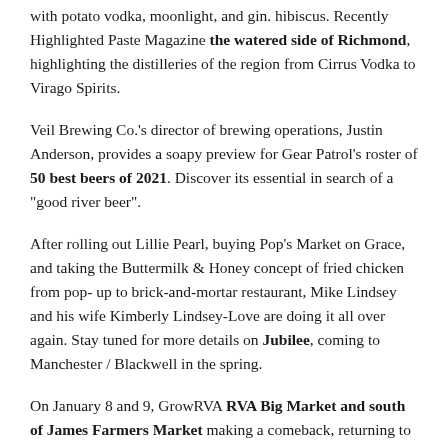with potato vodka, moonlight, and gin. hibiscus. Recently Highlighted Paste Magazine the watered side of Richmond, highlighting the distilleries of the region from Cirrus Vodka to Virago Spirits.
Veil Brewing Co.'s director of brewing operations, Justin Anderson, provides a soapy preview for Gear Patrol's roster of 50 best beers of 2021. Discover its essential in search of a "good river beer".
After rolling out Lillie Pearl, buying Pop's Market on Grace, and taking the Buttermilk & Honey concept of fried chicken from pop-up to brick-and-mortar restaurant, Mike Lindsey and his wife Kimberly Lindsey-Love are doing it all over again. Stay tuned for more details on Jubilee, coming to Manchester / Blackwell in the spring.
On January 8 and 9, GrowRVA RVA Big Market and south of James Farmers Market making a comeback, returning to Bryan